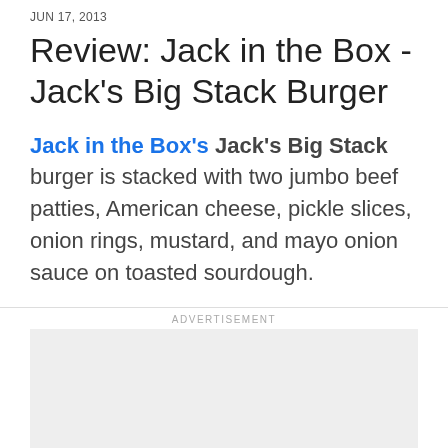JUN 17, 2013
Review: Jack in the Box - Jack's Big Stack Burger
Jack in the Box's Jack's Big Stack burger is stacked with two jumbo beef patties, American cheese, pickle slices, onion rings, mustard, and mayo onion sauce on toasted sourdough.
[Figure (other): Advertisement placeholder box with 'Ad' button label]